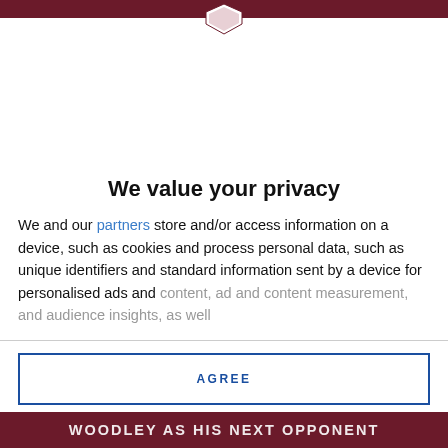We value your privacy
We and our partners store and/or access information on a device, such as cookies and process personal data, such as unique identifiers and standard information sent by a device for personalised ads and content, ad and content measurement, and audience insights, as well
AGREE
MORE OPTIONS
WOODLEY AS HIS NEXT OPPONENT